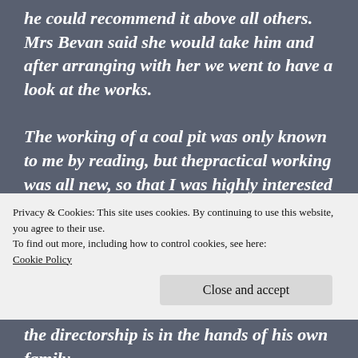he could recommend it above all others. Mrs Bevan said she would take him and after arranging with her we went to have a look at the works.

The working of a coal pit was only known to me by reading, but thepractical working was all new, so that I was highly interested in all I could see. Mr Hanmer very kindly took us over the workshops, engine room, and pit mouth. The colliery is the most complete in its arrangements of
Privacy & Cookies: This site uses cookies. By continuing to use this website, you agree to their use.
To find out more, including how to control cookies, see here:
Cookie Policy
Close and accept
the directorship is in the hands of his own family